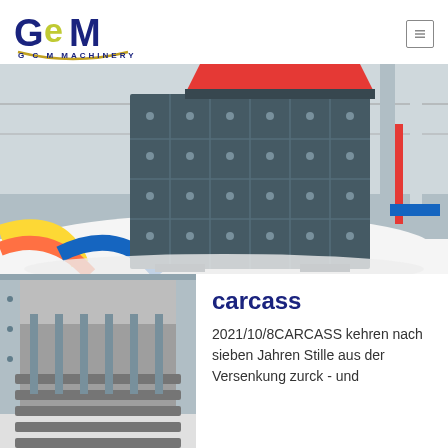GCM MACHINERY
[Figure (photo): Large industrial impact crusher with dark grey gridded carcass housing with red top feed section, surrounded by white stone aggregate and colorful curved equipment in background inside a large warehouse]
[Figure (photo): Close-up of industrial crusher carcass interior showing grey metal ribbed grate bars and sidewalls]
carcass
2021/10/8CARCASS kehren nach sieben Jahren Stille aus der Versenkung zurck - und